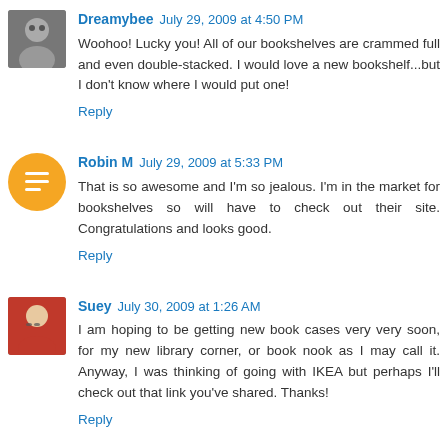[Figure (photo): Small grayscale avatar photo of Dreamybee]
Dreamybee July 29, 2009 at 4:50 PM
Woohoo! Lucky you! All of our bookshelves are crammed full and even double-stacked. I would love a new bookshelf...but I don't know where I would put one!
Reply
[Figure (illustration): Orange circle avatar icon for Robin M (Blogger icon)]
Robin M July 29, 2009 at 5:33 PM
That is so awesome and I'm so jealous. I'm in the market for bookshelves so will have to check out their site. Congratulations and looks good.
Reply
[Figure (photo): Small photo avatar of Suey wearing red top and glasses]
Suey July 30, 2009 at 1:26 AM
I am hoping to be getting new book cases very very soon, for my new library corner, or book nook as I may call it. Anyway, I was thinking of going with IKEA but perhaps I'll check out that link you've shared. Thanks!
Reply